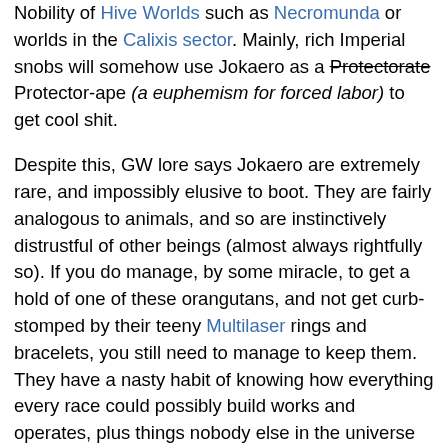Nobility of Hive Worlds such as Necromunda or worlds in the Calixis sector. Mainly, rich Imperial snobs will somehow use Jokaero as a Protectorate Protector-ape (a euphemism for forced labor) to get cool shit.
Despite this, GW lore says Jokaero are extremely rare, and impossibly elusive to boot. They are fairly analogous to animals, and so are instinctively distrustful of other beings (almost always rightfully so). If you do manage, by some miracle, to get a hold of one of these orangutans, and not get curb-stomped by their teeny Multilaser rings and bracelets, you still need to manage to keep them. They have a nasty habit of knowing how everything every race could possibly build works and operates, plus things nobody else in the universe knows. Naturally, this means that any prison they are held in is usually temporary, despite any and all preventative measures, although it may immediately tinker with the prison after escaping and then become trapped in the now improved prison, from which it will escape and restart the cycle. Logic is not a necessary component of the Warhammer universe. Keeping this in mind, it is not impossible to work with a